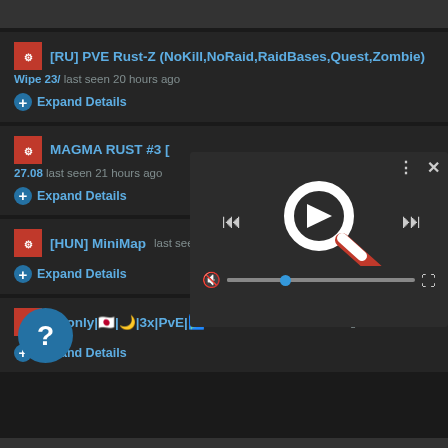[RU] PVE Rust-Z (NoKill,NoRaid,RaidBases,Quest,Zombie) Wipe 23/ last seen 20 hours ago
Expand Details
MAGMA RUST #3 [ ... 27.08 last seen 21 hours ago
Expand Details
[Figure (screenshot): Video player overlay showing a search/magnifying glass icon with media controls including skip-back, play/forward, skip-forward buttons, mute icon, volume slider, and fullscreen button. Three-dots menu and close X button at top right.]
[HUN] MiniMap last seen 21 hours ago
Expand Details
[Figure (other): Blue circular help button with question mark]
JPonly|🇯🇵|🌙|3x|PvE|🗾09/02 last seen 21 hours ago
Expand Details